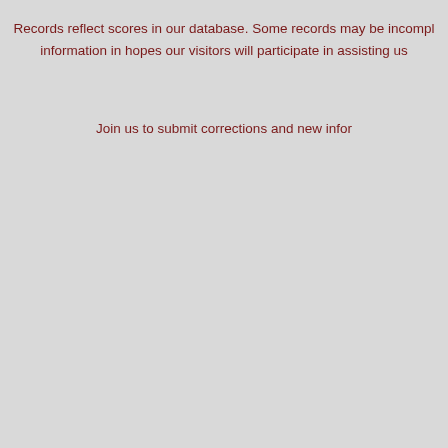Records reflect scores in our database. Some records may be incomplete. We have included this information in hopes our visitors will participate in assisting us.
Join us to submit corrections and new information.